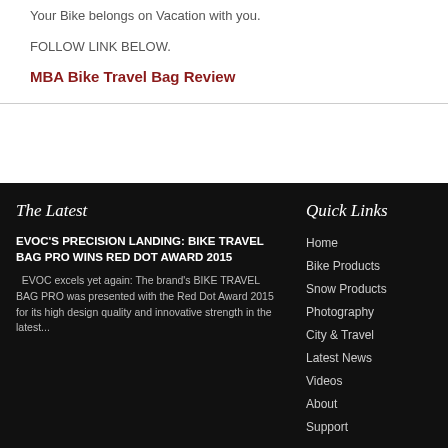Your Bike belongs on Vacation with you.
FOLLOW LINK BELOW.
MBA Bike Travel Bag Review
The Latest
Quick Links
EVOC'S PRECISION LANDING: BIKE TRAVEL BAG PRO WINS RED DOT AWARD 2015
EVOC excels yet again: The brand's BIKE TRAVEL BAG PRO was presented with the Red Dot Award 2015 for its high design quality and innovative strength in the latest...
Home
Bike Products
Snow Products
Photography
City & Travel
Latest News
Videos
About
Support